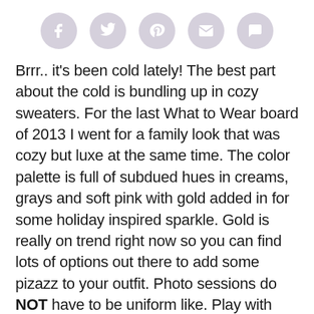[Figure (other): Row of five social sharing icon buttons (Facebook, Twitter, Pinterest, Email, Comment) as gray circles with white icons]
Brrr.. it's been cold lately! The best part about the cold is bundling up in cozy sweaters. For the last What to Wear board of 2013 I went for a family look that was cozy but luxe at the same time. The color palette is full of subdued hues in creams, grays and soft pink with gold added in for some holiday inspired sparkle. Gold is really on trend right now so you can find lots of options out there to add some pizazz to your outfit. Photo sessions do NOT have to be uniform like. Play with textures, pattern, shine, colors. You don't have to have the exact same grays; different shades can play well together!